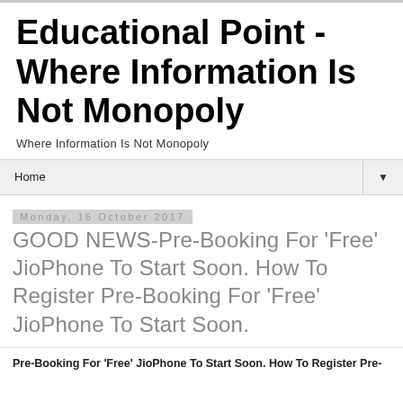Educational Point - Where Information Is Not Monopoly
Where Information Is Not Monopoly
Home
Monday, 16 October 2017
GOOD NEWS-Pre-Booking For 'Free' JioPhone To Start Soon. How To Register Pre-Booking For 'Free' JioPhone To Start Soon.
Pre-Booking For 'Free' JioPhone To Start Soon. How To Register Pre-